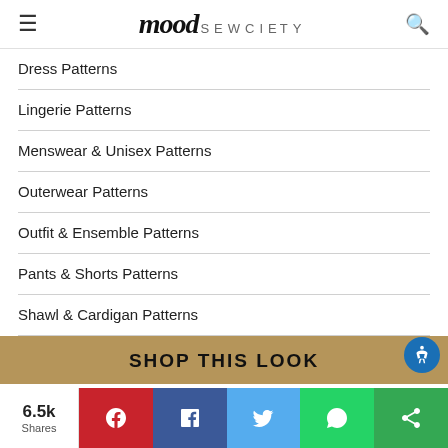mood SEWCIETY
Dress Patterns
Lingerie Patterns
Menswear & Unisex Patterns
Outerwear Patterns
Outfit & Ensemble Patterns
Pants & Shorts Patterns
Shawl & Cardigan Patterns
SHOP THIS LOOK
6.5k Shares